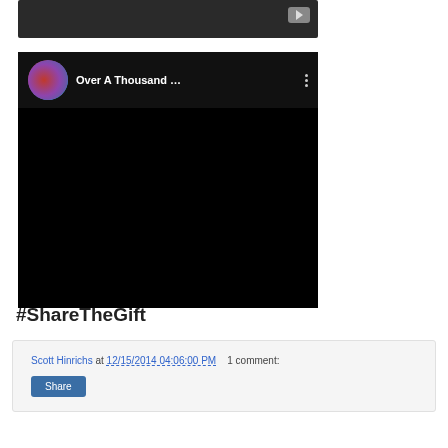[Figure (screenshot): YouTube video player top bar with play button, dark background]
[Figure (screenshot): YouTube video embed showing 'Over A Thousand ...' with circular avatar thumbnail, three-dot menu, and black video area]
#ShareTheGift
Scott Hinrichs at 12/15/2014 04:06:00 PM   1 comment:
Share